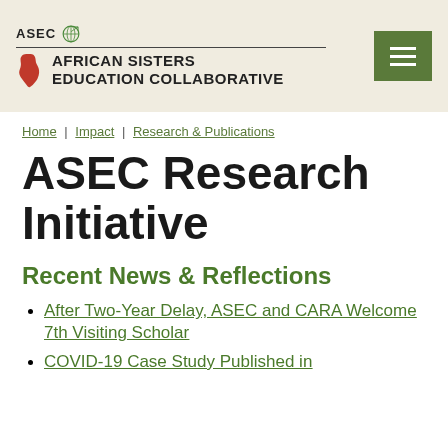[Figure (logo): ASEC African Sisters Education Collaborative logo with Africa map icon and globe, plus green hamburger menu button]
Home | Impact | Research & Publications
ASEC Research Initiative
Recent News & Reflections
After Two-Year Delay, ASEC and CARA Welcome 7th Visiting Scholar
COVID-19 Case Study Published in